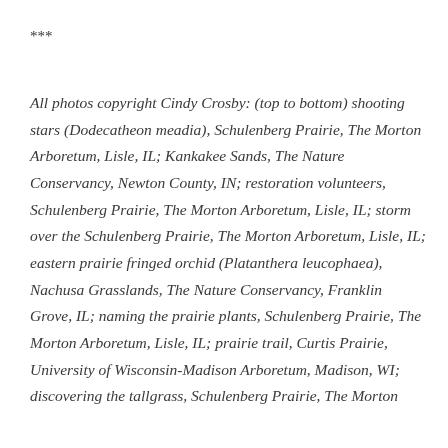***
All photos copyright Cindy Crosby: (top to bottom) shooting stars (Dodecatheon meadia), Schulenberg Prairie, The Morton Arboretum, Lisle, IL; Kankakee Sands, The Nature Conservancy, Newton County, IN; restoration volunteers, Schulenberg Prairie, The Morton Arboretum, Lisle, IL; storm over the Schulenberg Prairie, The Morton Arboretum, Lisle, IL; eastern prairie fringed orchid (Platanthera leucophaea), Nachusa Grasslands, The Nature Conservancy, Franklin Grove, IL; naming the prairie plants, Schulenberg Prairie, The Morton Arboretum, Lisle, IL; prairie trail, Curtis Prairie, University of Wisconsin-Madison Arboretum, Madison, WI; discovering the tallgrass, Schulenberg Prairie, The Morton